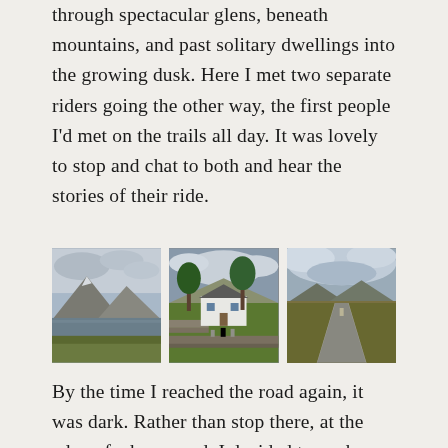through spectacular glens, beneath mountains, and past solitary dwellings into the growing dusk. Here I met two separate riders going the other way, the first people I'd met on the trails all day. It was lovely to stop and chat to both and hear the stories of their ride.
[Figure (photo): Three landscape photographs: left shows a mountain with a loch in the foreground; centre shows a white cottage with trees and a stone wall enclosure; right shows a road through moorland with mountains and dramatic clouds.]
By the time I reached the road again, it was dark. Rather than stop there, at the edge of a busy road, I decided to push on to Contin, home of the Strathpeffer… [continues]